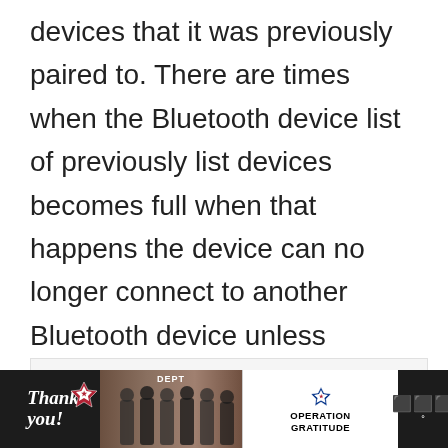devices that it was previously paired to. There are times when the Bluetooth device list of previously list devices becomes full when that happens the device can no longer connect to another Bluetooth device unless otherwise one or all the paired devices on the lists will be cleared.
[Figure (other): Advertisement placeholder box with label ADVERTISEMENT]
[Figure (other): Bottom banner advertisement showing Thank you text with US flag graphic, group of firefighters photo, Operation Gratitude logo, and close button. Dark background bar.]